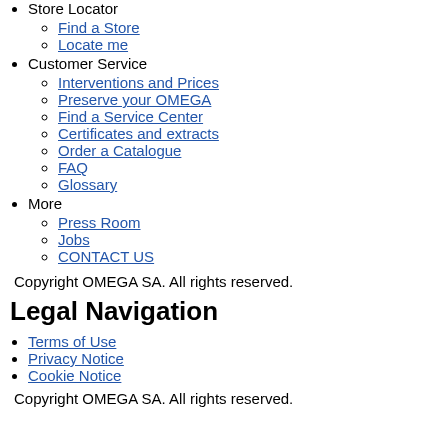Store Locator
Find a Store
Locate me
Customer Service
Interventions and Prices
Preserve your OMEGA
Find a Service Center
Certificates and extracts
Order a Catalogue
FAQ
Glossary
More
Press Room
Jobs
CONTACT US
Copyright OMEGA SA. All rights reserved.
Legal Navigation
Terms of Use
Privacy Notice
Cookie Notice
Copyright OMEGA SA. All rights reserved.